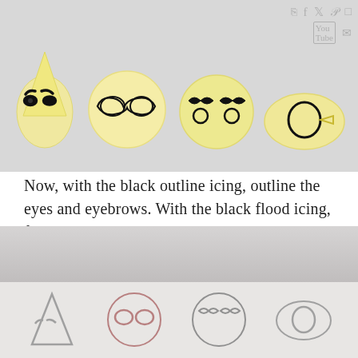[Figure (photo): Four yellow/cream colored cookie shapes arranged in a row on a light gray surface. Each cookie has black icing eyebrows and eye outlines on it. From left to right: a triangular shape, a round circle, a round circle, and an oval/egg shape on its side.]
Now, with the black outline icing, outline the eyes and eyebrows. With the black flood icing, flood the eyebrows.
[Figure (photo): Partial view of the bottom portion of the page showing two rows: top row with a gray gradient background (just the background visible), bottom row with lighter background showing partial outlines/silhouettes of the four cookie shapes with gray and colorful icing details.]